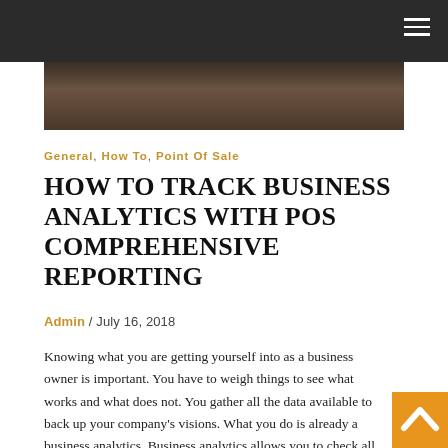Navigation bar
[Figure (photo): Hero image showing a dark-toned photo of a keyboard or business setting]
General, How To, Point Of Sale
HOW TO TRACK BUSINESS ANALYTICS WITH POS COMPREHENSIVE REPORTING
Admin / July 16, 2018
Knowing what you are getting yourself into as a business owner is important. You have to weigh things to see what works and what does not. You gather all the data available to back up your company's visions. What you do is already a business analytics. Business analytics allows you to check all information for profits. By analyzing collected data,...